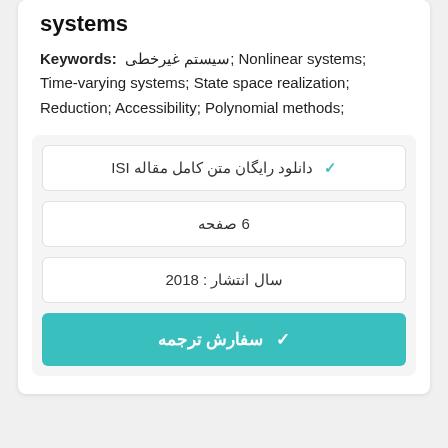systems
Keywords: سیستم غیرخطی; Nonlinear systems; Time-varying systems; State space realization; Reduction; Accessibility; Polynomial methods;
دانلود رایگان متن کامل مقاله ISI ✓
6 صفحه
سال انتشار : 2018
✓ سفارش ترجمه